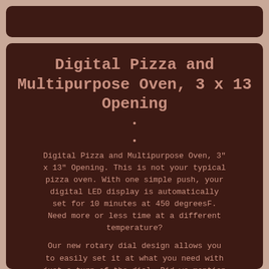Digital Pizza and Multipurpose Oven, 3 x 13 Opening
Digital Pizza and Multipurpose Oven, 3" x 13" Opening. This is not your typical pizza oven. With one simple push, your digital LED display is automatically set for 10 minutes at 450 degreesF. Need more or less time at a different temperature?
Our new rotary dial design allows you to easily set it at what you need with just a turn of the dial. Did we mention it does more than just pizza? You'll be